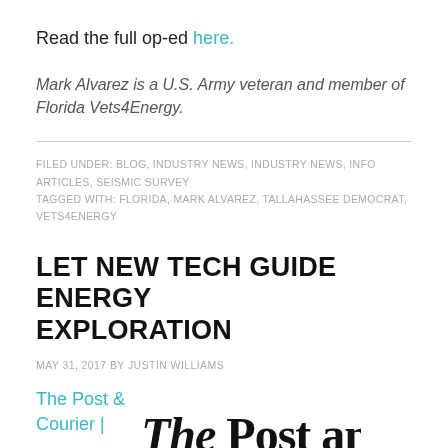Read the full op-ed here.
Mark Alvarez is a U.S. Army veteran and member of Florida Vets4Energy.
FILED UNDER: BLOG, INDUSTRY NEWS, INDUSTRY NEWS, INFO ARTICLES, SEISMIC SURVEY
TAGGED WITH: FLORIDA, MARK ALVAREZ, TALLAHASSEE DEMOCRAT, VETS4ENERGY
LET NEW TECH GUIDE ENERGY EXPLORATION
MAY 31, 2017 BY JUSTIN WILLIAMS
The Post & Courier |
[Figure (logo): The Post and Courier newspaper logo in blackletter/Gothic font]